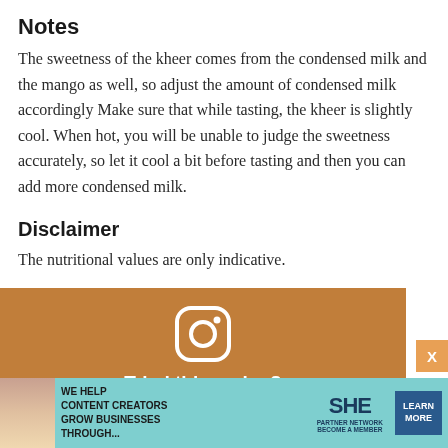Notes
The sweetness of the kheer comes from the condensed milk and the mango as well, so adjust the amount of condensed milk accordingly Make sure that while tasting, the kheer is slightly cool. When hot, you will be unable to judge the sweetness accurately, so let it cool a bit before tasting and then you can add more condensed milk.
Disclaimer
The nutritional values are only indicative.
[Figure (infographic): Brown Instagram promotional box with Instagram icon, heading 'Tried this recipe?', and text 'Please leave a comment & rate the recipe below or share a photo on Instagram and tag me']
[Figure (infographic): Teal advertisement banner for SHE Media Partner Network with text 'We help content creators grow businesses through...' and a 'Learn More' button]